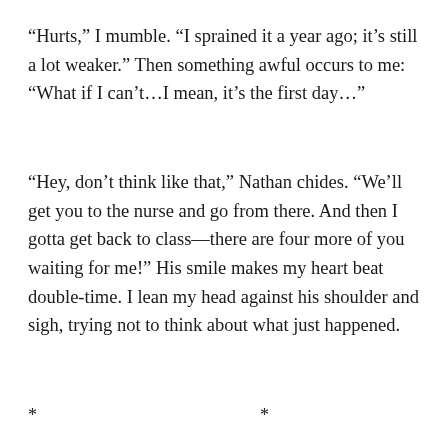“Hurts,” I mumble. “I sprained it a year ago; it’s still a lot weaker.” Then something awful occurs to me: “What if I can’t…I mean, it’s the first day…”
“Hey, don’t think like that,” Nathan chides. “We’ll get you to the nurse and go from there. And then I gotta get back to class—there are four more of you waiting for me!” His smile makes my heart beat double-time. I lean my head against his shoulder and sigh, trying not to think about what just happened.
* * * * *